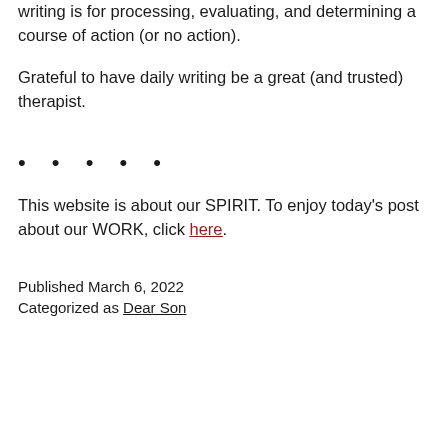writing is for processing, evaluating, and determining a course of action (or no action).
Grateful to have daily writing be a great (and trusted) therapist.
• • • • •
This website is about our SPIRIT. To enjoy today's post about our WORK, click here.
Published March 6, 2022
Categorized as Dear Son